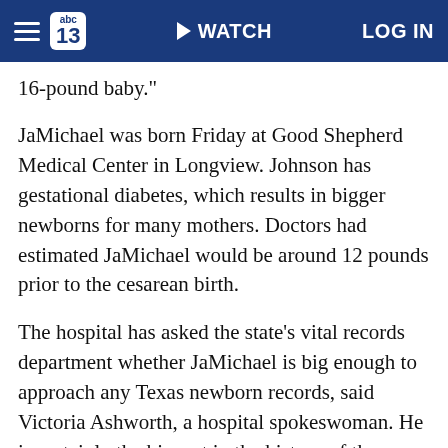abc13 | WATCH | LOG IN
16-pound baby."
JaMichael was born Friday at Good Shepherd Medical Center in Longview. Johnson has gestational diabetes, which results in bigger newborns for many mothers. Doctors had estimated JaMichael would be around 12 pounds prior to the cesarean birth.
The hospital has asked the state's vital records department whether JaMichael is big enough to approach any Texas newborn records, said Victoria Ashworth, a hospital spokeswoman. He is certainly the biggest in the history of the Longview hospital and was born, Ashworth said, almost two years to the day after the hospital delivered its smallest baby ever, who weighed just 15 ounces.